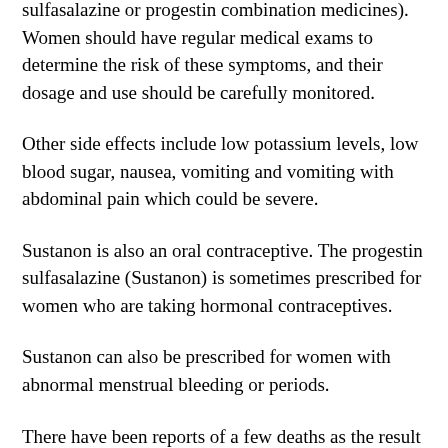sulfasalazine or progestin combination medicines). Women should have regular medical exams to determine the risk of these symptoms, and their dosage and use should be carefully monitored.
Other side effects include low potassium levels, low blood sugar, nausea, vomiting and vomiting with abdominal pain which could be severe.
Sustanon is also an oral contraceptive. The progestin sulfasalazine (Sustanon) is sometimes prescribed for women who are taking hormonal contraceptives.
Sustanon can also be prescribed for women with abnormal menstrual bleeding or periods.
There have been reports of a few deaths as the result of severe adverse reactions to sustanon. If you or your partner experience